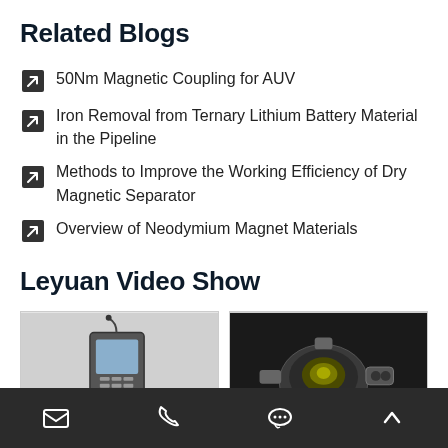Related Blogs
50Nm Magnetic Coupling for AUV
Iron Removal from Ternary Lithium Battery Material in the Pipeline
Methods to Improve the Working Efficiency of Dry Magnetic Separator
Overview of Neodymium Magnet Materials
Leyuan Video Show
[Figure (photo): Two video thumbnail images showing magnetic equipment and components]
[Figure (infographic): Bottom navigation bar with email, phone, chat and up arrow icons]